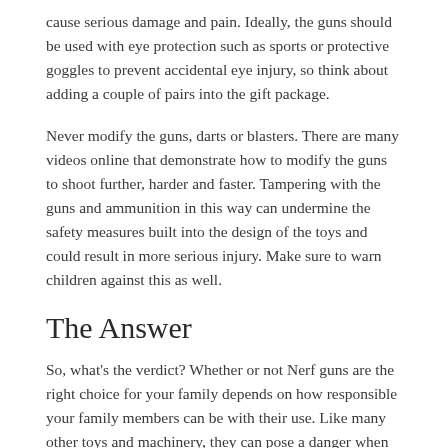cause serious damage and pain. Ideally, the guns should be used with eye protection such as sports or protective goggles to prevent accidental eye injury, so think about adding a couple of pairs into the gift package.
Never modify the guns, darts or blasters. There are many videos online that demonstrate how to modify the guns to shoot further, harder and faster. Tampering with the guns and ammunition in this way can undermine the safety measures built into the design of the toys and could result in more serious injury. Make sure to warn children against this as well.
The Answer
So, what's the verdict? Whether or not Nerf guns are the right choice for your family depends on how responsible your family members can be with their use. Like many other toys and machinery, they can pose a danger when not used properly so anyone that is gifted or using this toy should be aware of those possible dangers, as well as the rules that are in place for eye safety. If you or a loved one does get injured by such a toy, get a medical evaluation immediately, especially